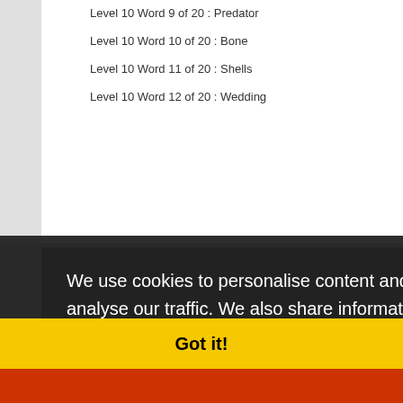Level 10 Word 9 of 20 : Predator
Level 10 Word 10 of 20 : Bone
Level 10 Word 11 of 20 : Shells
Level 10 Word 12 of 20 : Wedding
Level 10 Word 13 of 20 : Cabbage
Level 10 Word 14 of 20 : S...
Level 10 Word 15 of 20 : ...
Level 10 Word 16 of 20 : ...
Level 10 Word 17 of 20 : Hospital
Level 10 Word 18 of 20 : Raindrop
Level 10 Word 19 of 20 : Climate
Level 10 Word 20 of 20 : Brunette
We use cookies to personalise content and ads, to provide social media features and to analyse our traffic. We also share information about your use of our site with our social media, advertising and analytics partners who may combine it with other information you've provided to them or they've collected from your use of their services.  Learn more
Got it!